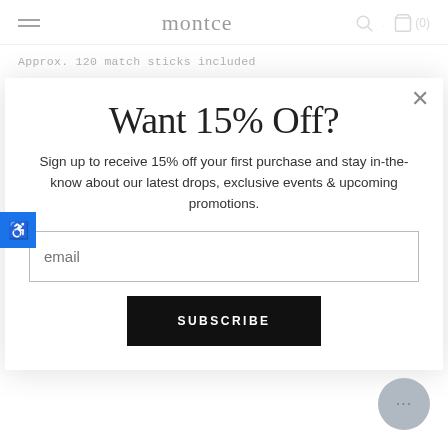montce
Approx. 120 match sticks included
Filled & packaged by hand in our Washington studio
SAFETY FIRST! Keep this product away from children. Do not allow children to use or play with product. This is not a toy. Never leave
Want 15% Off?
Sign up to receive 15% off your first purchase and stay in-the-know about our latest drops, exclusive events & upcoming promotions.
email
SUBSCRIBE